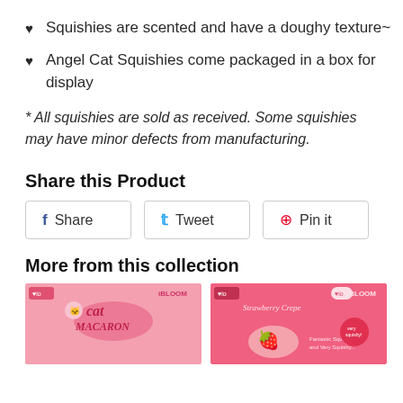Squishies are scented and have a doughy texture~
Angel Cat Squishies come packaged in a box for display
* All squishies are sold as received. Some squishies may have minor defects from manufacturing.
Share this Product
Share  Tweet  Pin it
More from this collection
[Figure (photo): Two product collection images: left shows Cat Macaron iBloom squishy packaging with pink background, right shows Strawberry Crepe iBloom squishy packaging with pink background.]